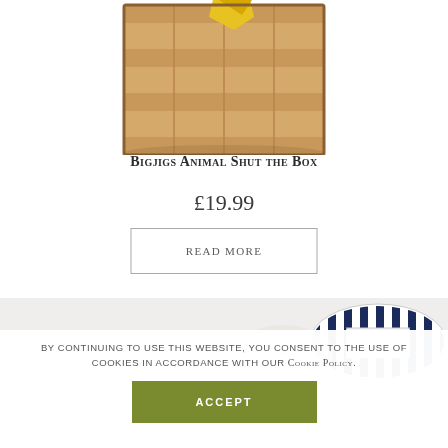[Figure (photo): Top portion of a wooden box game (Bigjigs Animal Shut the Box) shown from above, with wooden slats and a yellow game piece visible]
Bigjigs Animal Shut the Box
£19.99
Read more
[Figure (photo): Bottom portion showing another product with navy blue and white striped fabric/pattern item]
By continuing to use this website, you consent to the use of cookies in accordance with our Cookie Policy.
Accept